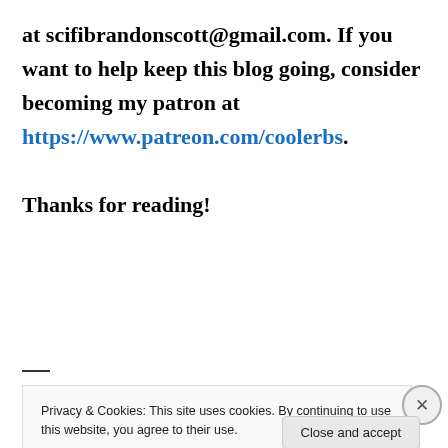at scifibrandonscott@gmail.com. If you want to help keep this blog going, consider becoming my patron at https://www.patreon.com/coolerbs. Thanks for reading!
Privacy & Cookies: This site uses cookies. By continuing to use this website, you agree to their use. To find out more, including how to control cookies, see here: Cookie Policy